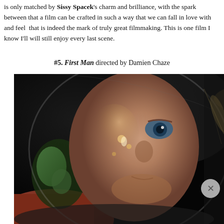is only matched by Sissy Spacek's charm and brilliance, with the spark between that a film can be crafted in such a way that we can fall in love with and feel that is indeed the mark of truly great filmmaking. This is one film I know I'll will still enjoy every last scene.
#5. First Man directed by Damien Chaze
[Figure (photo): Close-up photo of an astronaut's face through a helmet visor, showing reflections on the visor glass, from the film First Man.]